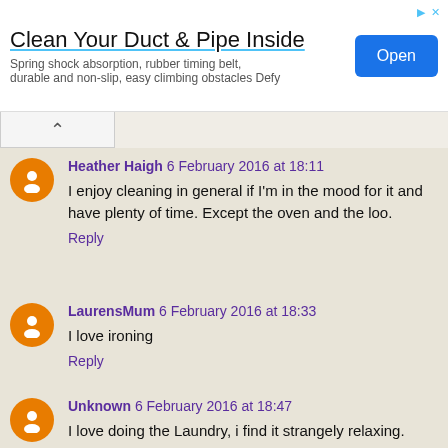[Figure (screenshot): Advertisement banner for 'Clean Your Duct & Pipe Inside' with blue Open button. Text: Spring shock absorption, rubber timing belt, durable and non-slip, easy climbing obstacles Defy]
Heather Haigh 6 February 2016 at 18:11
I enjoy cleaning in general if I'm in the mood for it and have plenty of time. Except the oven and the loo.
Reply
LaurensMum 6 February 2016 at 18:33
I love ironing
Reply
Unknown 6 February 2016 at 18:47
I love doing the Laundry, i find it strangely relaxing.